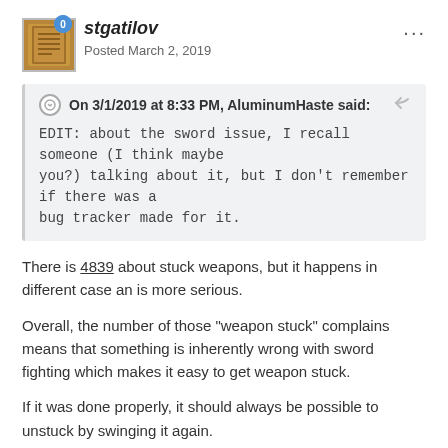stgatilov
Posted March 2, 2019
On 3/1/2019 at 8:33 PM, AluminumHaste said:
EDIT: about the sword issue, I recall someone (I think maybe you?) talking about it, but I don't remember if there was a bug tracker made for it.
There is 4839 about stuck weapons, but it happens in different case an is more serious.
Overall, the number of those "weapon stuck" complains means that something is inherently wrong with sword fighting which makes it easy to get weapon stuck.
If it was done properly, it should always be possible to unstuck by swinging it again.